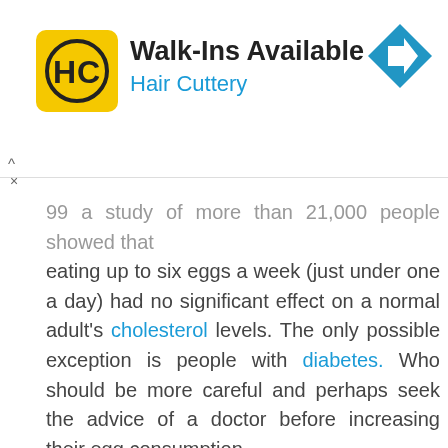[Figure (infographic): Hair Cuttery advertisement banner with yellow square logo showing HC initials, text 'Walk-Ins Available' and 'Hair Cuttery' in blue, and a blue diamond-shaped directional arrow icon on the right.]
99 a study of more than 21,000 people showed that eating up to six eggs a week (just under one a day) had no significant effect on a normal adult's cholesterol levels. The only possible exception is people with diabetes. Who should be more careful and perhaps seek the advice of a doctor before increasing their egg consumption.